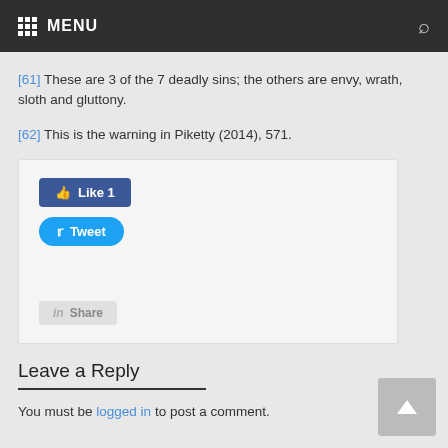MENU
[61] These are 3 of the 7 deadly sins; the others are envy, wrath, sloth and gluttony.
[62] This is the warning in Piketty (2014), 571.
[Figure (other): Social share buttons box containing Like 1 (Facebook), Tweet (Twitter), and Share (LinkedIn) buttons]
Leave a Reply
You must be logged in to post a comment.